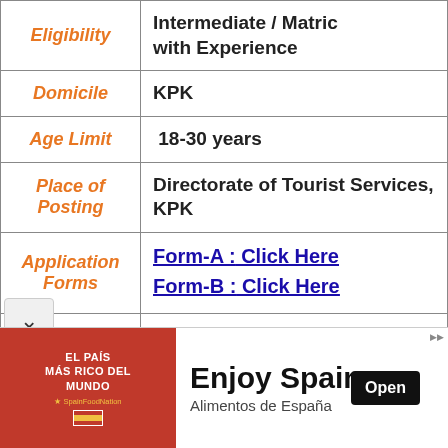| Field | Value |
| --- | --- |
| Eligibility | Intermediate / Matric with Experience |
| Domicile | KPK |
| Age Limit | 18-30 years |
| Place of Posting | Directorate of Tourist Services, KPK |
| Application Forms | Form-A : Click Here
Form-B : Click Here |
| Roll Number | Available Here |
[Figure (infographic): Advertisement banner for 'El País Más Rico Del Mundo' / Enjoy Spain / Alimentos de España with an Open button]